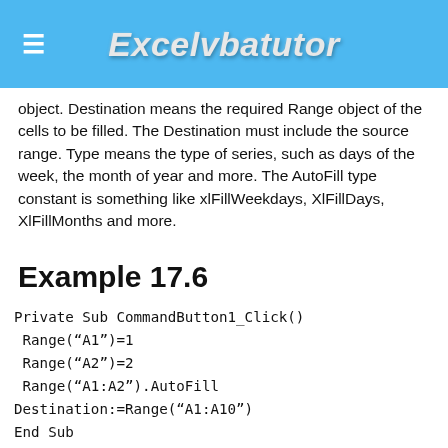Excelvbatutor
object. Destination means the required Range object of the cells to be filled. The Destination must include the source range. Type means the type of series, such as days of the week, the month of year and more. The AutoFill type constant is something like xlFillWeekdays, XlFillDays, XlFillMonths and more.
Example 17.6